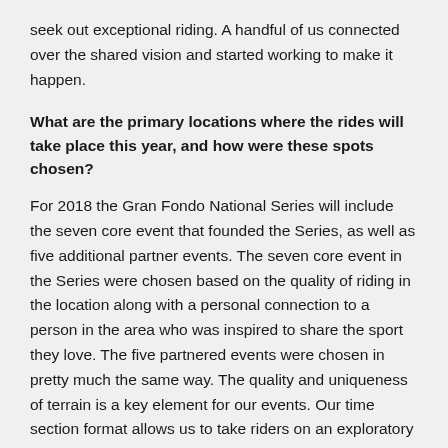seek out exceptional riding.  A handful of us connected over the shared vision and started working to make it happen.
What are the primary locations where the rides will take place this year, and how were these spots chosen?
For 2018 the Gran Fondo National Series will include the seven core event that founded the Series, as well as five additional partner events. The seven core event in the Series were chosen based on the quality of riding in the location along with a personal connection to a person in the area who was inspired to share the sport they love. The five partnered events were chosen in pretty much the same way.  The quality and uniqueness of terrain is a key element for our events.  Our time section format allows us to take riders on an exploratory experience, to utilize roads and terrain that inspire our riders to embrace the challenge presented.  This